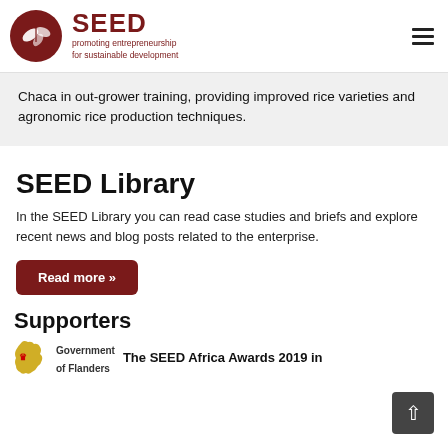SEED promoting entrepreneurship for sustainable development
Chaca in out-grower training, providing improved rice varieties and agronomic rice production techniques.
SEED Library
In the SEED Library you can read case studies and briefs and explore recent news and blog posts related to the enterprise.
Read more »
Supporters
Government of Flanders The SEED Africa Awards 2019 in